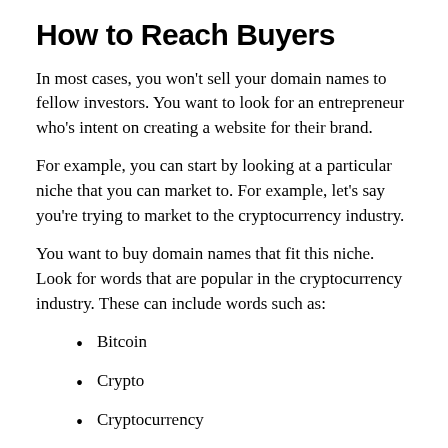How to Reach Buyers
In most cases, you won't sell your domain names to fellow investors. You want to look for an entrepreneur who's intent on creating a website for their brand.
For example, you can start by looking at a particular niche that you can market to. For example, let's say you're trying to market to the cryptocurrency industry.
You want to buy domain names that fit this niche. Look for words that are popular in the cryptocurrency industry. These can include words such as:
Bitcoin
Crypto
Cryptocurrency
HODL